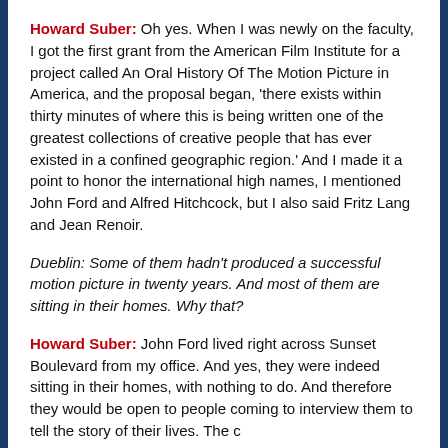Howard Suber: Oh yes. When I was newly on the faculty, I got the first grant from the American Film Institute for a project called An Oral History Of The Motion Picture in America, and the proposal began, 'there exists within thirty minutes of where this is being written one of the greatest collections of creative people that has ever existed in a confined geographic region.' And I made it a point to honor the international high names, I mentioned John Ford and Alfred Hitchcock, but I also said Fritz Lang and Jean Renoir.
Dueblin: Some of them hadn't produced a successful motion picture in twenty years. And most of them are sitting in their homes. Why that?
Howard Suber: John Ford lived right across Sunset Boulevard from my office. And yes, they were indeed sitting in their homes, with nothing to do. And therefore they would be open to people coming to interview them to tell the story of their lives. The c... [continues]